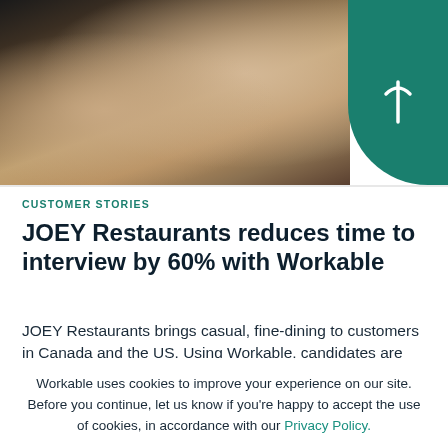[Figure (photo): Restaurant dining scene with people seated at a table with food and drinks, teal Workable logo badge in top-right corner]
CUSTOMER STORIES
JOEY Restaurants reduces time to interview by 60% with Workable
JOEY Restaurants brings casual, fine-dining to customers in Canada and the US. Using Workable, candidates are
Workable uses cookies to improve your experience on our site. Before you continue, let us know if you're happy to accept the use of cookies, in accordance with our Privacy Policy.